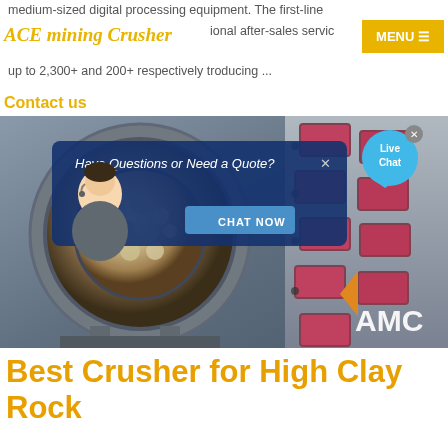medium-sized digital processing equipment. The first-line professional after-sales service up to 2,300+ and 200+ respectively troducing ...
ACE mining Crusher
MENU ☰
Contact us
[Figure (screenshot): Industrial crusher machine cross-section showing rotating drum with ore/rock material inside, pink/red crusher segments on right side, and AMC logo watermark. A chat popup overlay shows 'Have Questions or Need a Quote?' with an animated avatar assistant and 'CHAT NOW' button. A Live Chat bubble is shown in the top right.]
Best Crusher for High Clay Rock